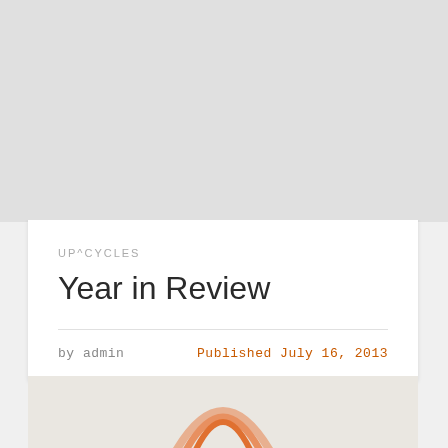[Figure (other): Gray placeholder image block at top of page]
UP^CYCLES
Year in Review
by admin
Published July 16, 2013
[Figure (logo): Partial orange arc/rainbow logo at bottom, partially visible]